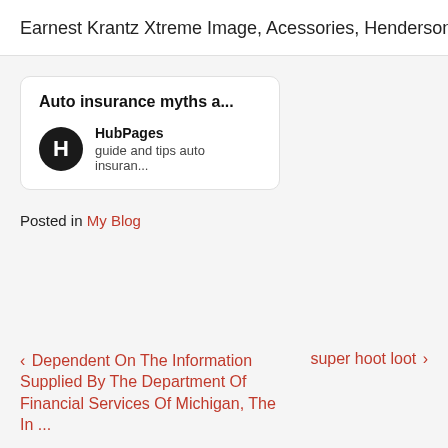Earnest Krantz Xtreme Image, Acessories, Henderson
Auto insurance myths a...
HubPages
guide and tips auto insuran...
Posted in My Blog
< Dependent On The Information Supplied By The Department Of Financial Services Of Michigan, The In ...
super hoot loot >